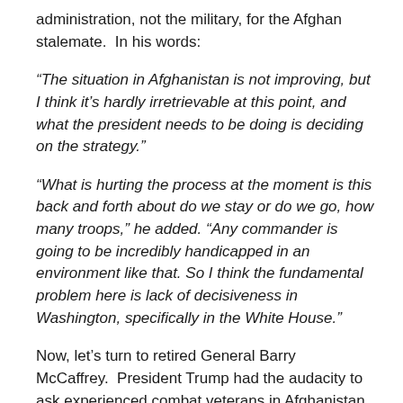administration, not the military, for the Afghan stalemate.  In his words:
“The situation in Afghanistan is not improving, but I think it’s hardly irretrievable at this point, and what the president needs to be doing is deciding on the strategy.”
“What is hurting the process at the moment is this back and forth about do we stay or do we go, how many troops,” he added. “Any commander is going to be incredibly handicapped in an environment like that. So I think the fundamental problem here is lack of decisiveness in Washington, specifically in the White House.”
Now, let’s turn to retired General Barry McCaffrey.  President Trump had the audacity to ask experienced combat veterans in Afghanistan (i.e., not only the generals) for advice on the war, and McCaffrey is having